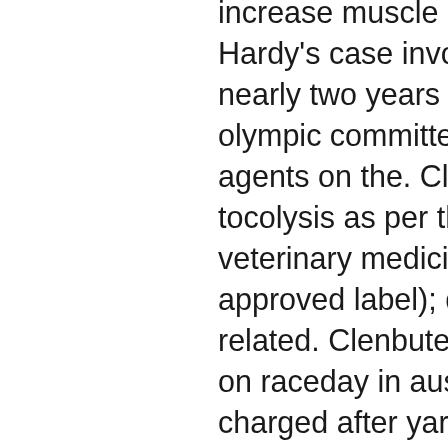increase muscle mass and reduce body fat. Hardy's case involves clenbuterol, banned nearly two years ago by the international olympic committee. It is one of five anabolic agents on the. Clenbuterol (except for tocolysis as per the australian pesticides and veterinary medicines authority (apvma) approved label); diethylstilboestrol and related. Clenbuterol is a banned substance on raceday in australia. Trainer matt laurie charged after yarra valley winner fails drug test. Dot drug testing: after january 1, 2018 – still a 5-panelthe dot testing at hhs-certified laboratories is a 5-panel drug test regimen. Committed to providing quality reference materials for food and beverage testing, buy (±)-clenbuterol d9 (trimethyl d9) online at lgc standards. Australia's world heavyweight champion lucas browne says he is seeking legal advice after testing positive